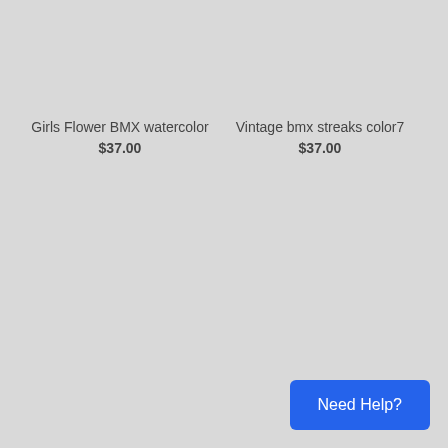Girls Flower BMX watercolor
$37.00
Vintage bmx streaks color7
$37.00
Need Help?